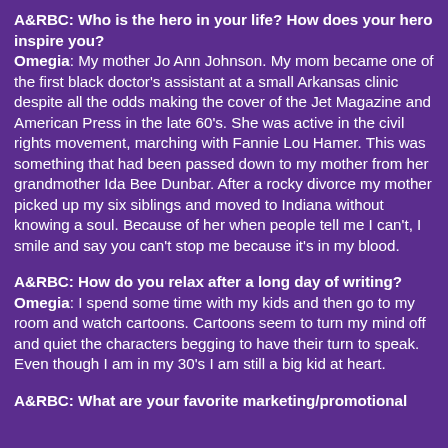A&RBC: Who is the hero in your life? How does your hero inspire you? Omegia: My mother Jo Ann Johnson. My mom became one of the first black doctor's assistant at a small Arkansas clinic despite all the odds making the cover of the Jet Magazine and American Press in the late 60's. She was active in the civil rights movement, marching with Fannie Lou Hamer. This was something that had been passed down to my mother from her grandmother Ida Bee Dunbar. After a rocky divorce my mother picked up my six siblings and moved to Indiana without knowing a soul. Because of her when people tell me I can't, I smile and say you can't stop me because it's in my blood.
A&RBC: How do you relax after a long day of writing? Omegia: I spend some time with my kids and then go to my room and watch cartoons. Cartoons seem to turn my mind off and quiet the characters begging to have their turn to speak. Even though I am in my 30's I am still a big kid at heart.
A&RBC: What are your favorite marketing/promotional